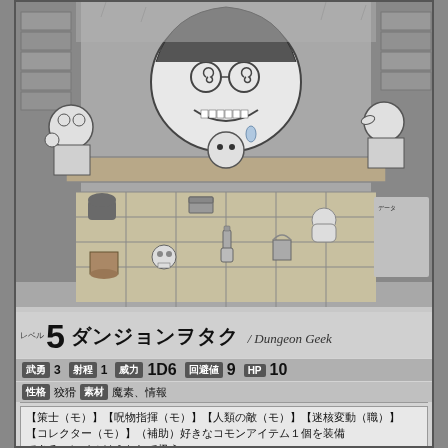[Figure (illustration): Black and white manga-style illustration showing several anime characters (mostly small chibi-style figures) in a dungeon setting with a game board, treasure chests, barrels, and dungeon tiles. Characters include a large creature with spiral glasses, small elf-like characters, and dungeon scenery.]
レベル
5　ダンジョンヲタク / Dungeon Geek
武勇 3　射程 1　威力 1D6　回避値 9　HP 10
性格 狡猾　素材 魔素、情報
【策士（モ）】【呪物指揮（モ）】【人類の敵（モ）】【迷核変動（職）】【コレクター（モ）】（補助）好きなコモンアイテム１個を装備できる。レベルは０として扱う
趣味で始めた迷宮の研究に取り憑かれ、いつしか迷宮に取り込まれてしまった人間。常に完璧な迷宮創りに没頭しており、ランドメイカーは格好の実験台である。人の話を聞く耳など